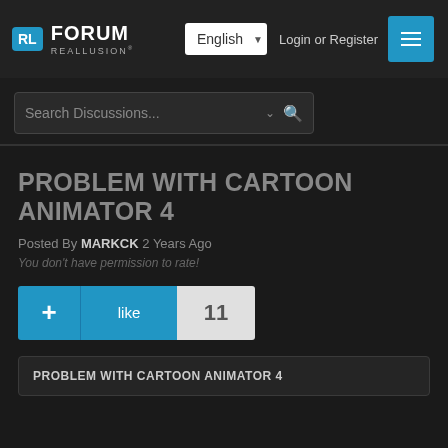RL FORUM REALLUSION — English — Login or Register
Search Discussions...
PROBLEM WITH CARTOON ANIMATOR 4
Posted By MARKCK 2 Years Ago
You don't have permission to rate!
+ like 11
PROBLEM WITH CARTOON ANIMATOR 4